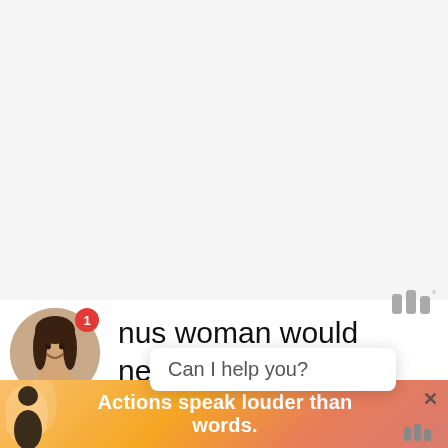[Figure (screenshot): Large blank white/light gray content area at top of mobile app screen]
[Figure (screenshot): Werdsmith app logo mark (three vertical bars with degree symbol) in gray, top right]
[Figure (photo): Circular avatar of a young woman with dark hair smiling, with red notification badge showing '1']
nus woman would never consider d...om... share her moral and ethical ideals, so make it clear that you're
Can I help you?
[Figure (screenshot): Bottom ad banner with orange/pink gradient showing a silhouette figure and text 'Actions speak louder than words.' with a close button and Werdsmith logo]
Actions speak louder than words.